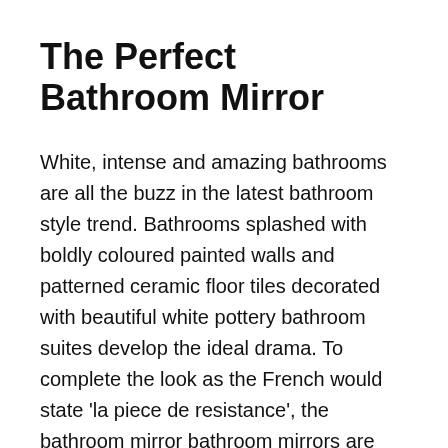The Perfect Bathroom Mirror
White, intense and amazing bathrooms are all the buzz in the latest bathroom style trend. Bathrooms splashed with boldly coloured painted walls and patterned ceramic floor tiles decorated with beautiful white pottery bathroom suites develop the ideal drama. To complete the look as the French would state 'la piece de resistance', the bathroom mirror bathroom mirrors are one of the primary elements of any bathroom style ensemble merely because they can entirely alter the appearance of the bathroom in the eyes of